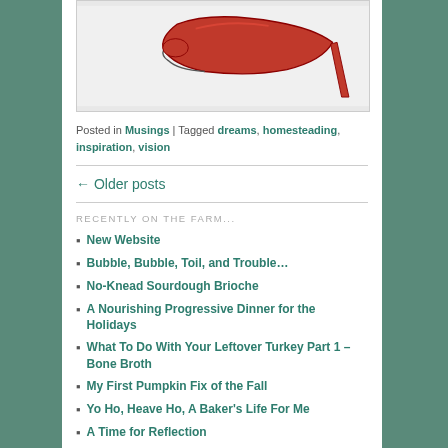[Figure (photo): Red high-heel stiletto shoe photographed against white background, partial view showing toe box and heel]
Posted in Musings | Tagged dreams, homesteading, inspiration, vision
← Older posts
RECENTLY ON THE FARM...
New Website
Bubble, Bubble, Toil, and Trouble…
No-Knead Sourdough Brioche
A Nourishing Progressive Dinner for the Holidays
What To Do With Your Leftover Turkey Part 1 – Bone Broth
My First Pumpkin Fix of the Fall
Yo Ho, Heave Ho, A Baker's Life For Me
A Time for Reflection